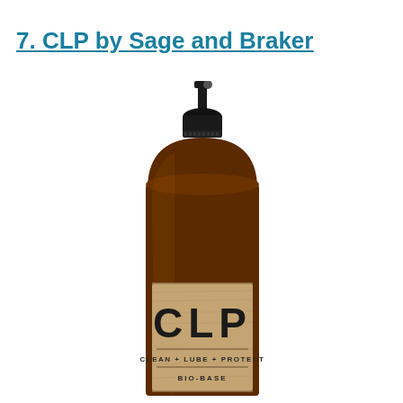7. CLP by Sage and Braker
[Figure (photo): A dark amber spray bottle with a black pump sprayer top. The bottle has a tan/wood-grain label showing 'CLP' in large bold letters, 'CLEAN + LUBE + PROTECT' below, and 'BIO-BASE' at the bottom of the label. The product is CLP by Sage and Braker.]